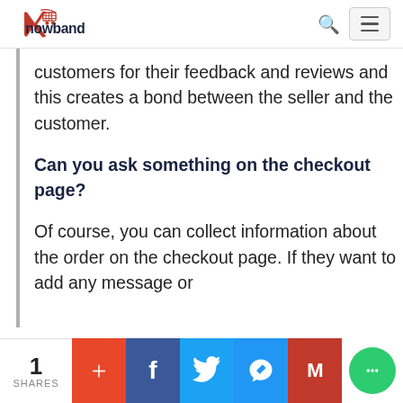Knowband
customers for their feedback and reviews and this creates a bond between the seller and the customer.
Can you ask something on the checkout page?
Of course, you can collect information about the order on the checkout page. If they want to add any message or
1 SHARES | + | f | Twitter | Messenger | M | Chat